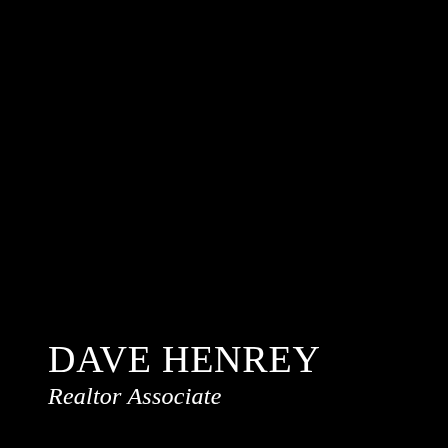[Figure (photo): Dark/black background covering the full page, appearing to be a professional portrait photo in very low light or a solid black background.]
DAVE HENREY
Realtor Associate